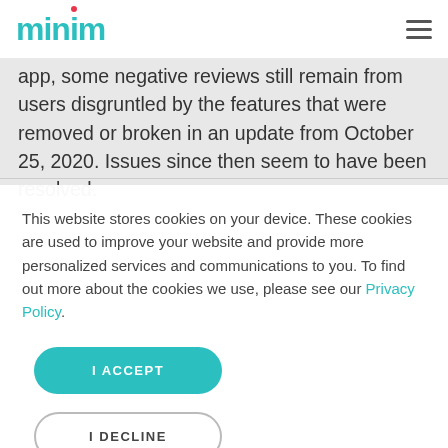minim
app, some negative reviews still remain from users disgruntled by the features that were removed or broken in an update from October 25, 2020.  Issues since then seem to have been resolved.
This website stores cookies on your device. These cookies are used to improve your website and provide more personalized services and communications to you. To find out more about the cookies we use, please see our Privacy Policy.
I ACCEPT
I DECLINE